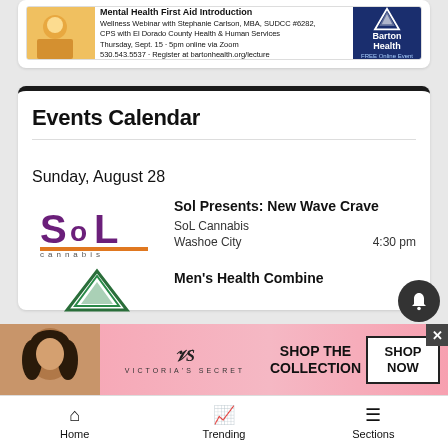[Figure (illustration): Barton Health Mental Health First Aid Introduction wellness webinar advertisement with photo of person and Barton Health logo on dark blue background]
Events Calendar
Sunday, August 28
[Figure (logo): SoL Cannabis logo in purple and gold]
Sol Presents: New Wave Crave
SoL Cannabis
Washoe City    4:30 pm
[Figure (logo): Barton Health mountain logo]
Men's Health Combine
[Figure (illustration): Victoria's Secret advertisement - Shop the Collection, Shop Now]
Home    Trending    Sections